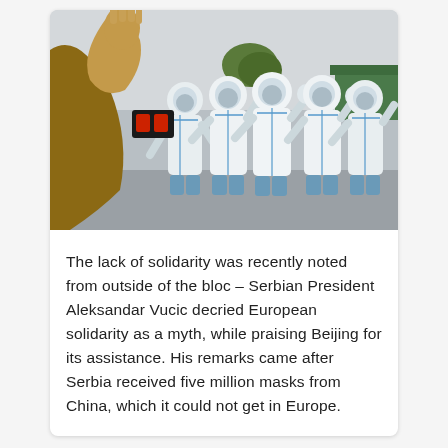[Figure (photo): Several people in white protective hazmat suits with blue accents and face shields wave their hands. In the foreground, a person in a brown jacket raises their arm/hand toward the group. The setting appears to be outdoors near a building.]
The lack of solidarity was recently noted from outside of the bloc – Serbian President Aleksandar Vucic decried European solidarity as a myth, while praising Beijing for its assistance. His remarks came after Serbia received five million masks from China, which it could not get in Europe.